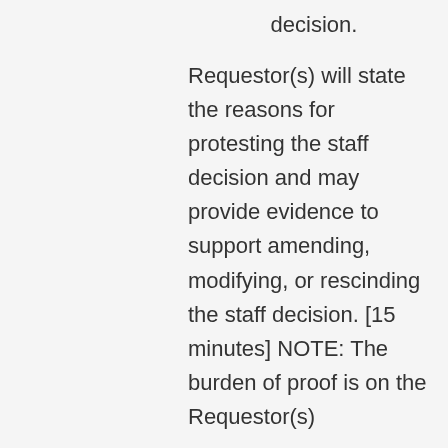decision.
Requestor(s) will state the reasons for protesting the staff decision and may provide evidence to support amending, modifying, or rescinding the staff decision. [15 minutes] NOTE: The burden of proof is on the Requestor(s)
Rebuttal by Department staff [15 minutes]
Rebuttal by Requestor(s) [10 minutes]
Note: Times noted in brackets are